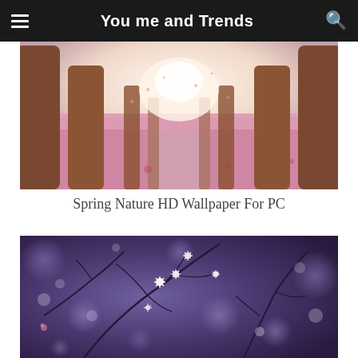You me and Trends
[Figure (photo): A path lined with large tree trunks covered in pink cherry blossom petals on the ground, leading into a bright misty background]
Spring Nature HD Wallpaper For PC
[Figure (photo): Close-up of white small flowers on dark branches against a blurred purple/violet bokeh background]